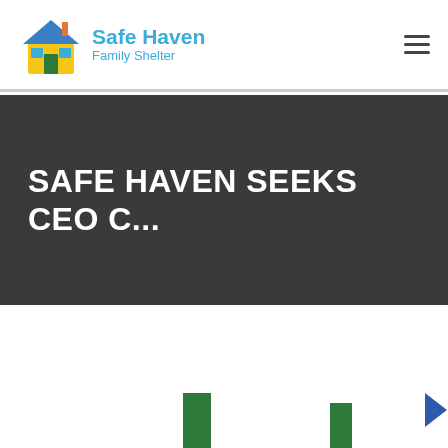[Figure (logo): Safe Haven Family Shelter logo with illustrated house icon in blue, yellow, and green, and text 'Safe Haven' in teal blue and 'Family Shelter' below]
SAFE HAVEN SEEKS CEO C...
[Figure (bar-chart): Partial bar chart visible at bottom of page with two green vertical bars and a blue arrow/navigation element on the right]